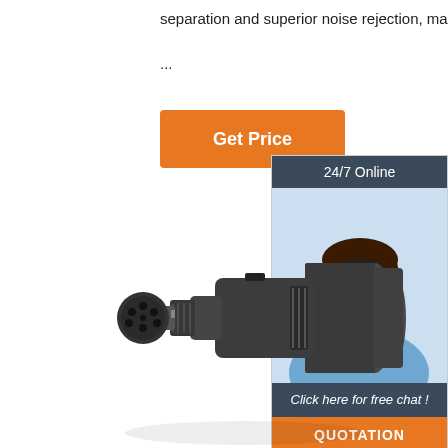separation and superior noise rejection, making
...
[Figure (other): Orange 'Get Price' button]
[Figure (other): Sidebar with '24/7 Online' header, customer service representative photo wearing a headset, 'Click here for free chat!' text, and orange 'QUOTATION' button]
[Figure (photo): Black multi-pin electrical connector/plug product photo on white background]